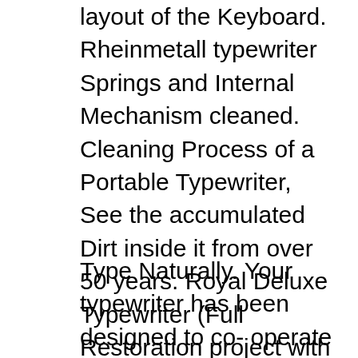layout of the Keyboard. Rheinmetall typewriter Springs and Internal Mechanism cleaned. Cleaning Process of a Portable Typewriter, See the accumulated Dirt inside it from over 50 years. Royal Deluxe Typewriter (Full Restoration project with Keys off for a Good polish) This Typewriter Arrived to us in extremely Bad Condition and we will Share the Results Soon.
Type Naturally. Your typewriter has been designed to co- operate with you. After you have thoroughly familiarized yourself with its many improvements, you will find its use almost tesecond nature." Type Beautifully. The Royal slogan has long been "Compare the